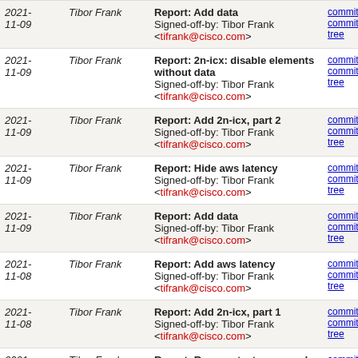| Date | Author | Message | Links |
| --- | --- | --- | --- |
| 2021-11-09 | Tibor Frank | Report: Add data
Signed-off-by: Tibor Frank <tifrank@cisco.com> | commit | commitdiff | tree |
| 2021-11-09 | Tibor Frank | Report: 2n-icx: disable elements without data
Signed-off-by: Tibor Frank <tifrank@cisco.com> | commit | commitdiff | tree |
| 2021-11-09 | Tibor Frank | Report: Add 2n-icx, part 2
Signed-off-by: Tibor Frank <tifrank@cisco.com> | commit | commitdiff | tree |
| 2021-11-09 | Tibor Frank | Report: Hide aws latency
Signed-off-by: Tibor Frank <tifrank@cisco.com> | commit | commitdiff | tree |
| 2021-11-09 | Tibor Frank | Report: Add data
Signed-off-by: Tibor Frank <tifrank@cisco.com> | commit | commitdiff | tree |
| 2021-11-08 | Tibor Frank | Report: Add aws latency
Signed-off-by: Tibor Frank <tifrank@cisco.com> | commit | commitdiff | tree |
| 2021-11-08 | Tibor Frank | Report: Add 2n-icx, part 1
Signed-off-by: Tibor Frank <tifrank@cisco.com> | commit | commitdiff | tree |
| 2021-11-08 | Tibor Frank | Report: Remove tests removed by 34207
Signed-off-by: Tibor Frank <tifrank@cisco.com> | commit | commitdiff | tree |
| 2021- | Tibor Frank | Report: Add data | commit | commitdiff |